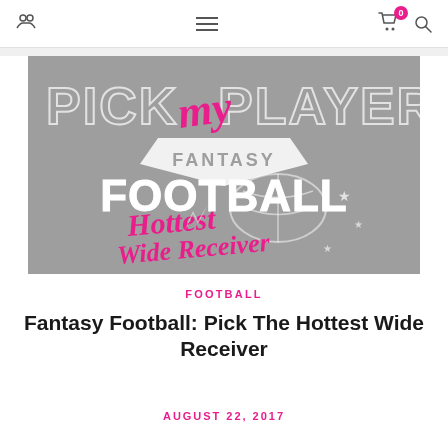Navigation bar with share icon, hamburger menu, cart with badge 0, and search icon
[Figure (illustration): Logo/graphic for 'Pick My Players Fantasy Football – Hottest Wide Receiver' on a gray background. Large collegiate-style text 'PICK PLAYERS' with pink script 'my' overlaid. Below, a banner reads 'FANTASY FOOTBALL' in bold white letters. Pink script text reads 'Hottest Wide Receiver' over a stylized football graphic with stars and lightning bolt shapes.]
FOOTBALL
Fantasy Football: Pick The Hottest Wide Receiver
AUGUST 22, 2017